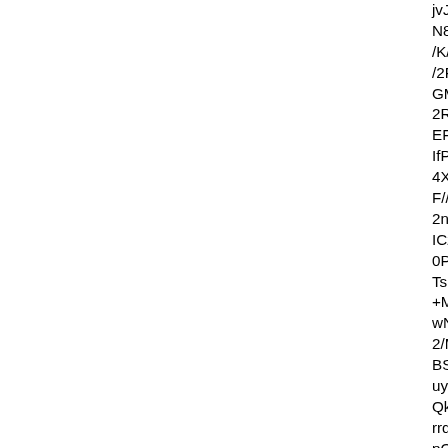jvJ3QeFL/MSff//jGMTQD4KqwyZqinBN... N8axba8XCXzrRYgkCPyPmbaDlw/lY4H /K///I2VaN/t/BxfAwCz4qkLPY1B6ezJjsA /2Fgt+z8Rf5URn0/6r8sanyX5Bn6pZZD3 GMTODsHOvyRqzqDo1TH9QIlvnPoNv5 2RF0PGbtoRxo8CG9pP/jGMTODwKmx EFvgy2c1RAavDMi6SEUZDq8mMe3gC IfPnwx+vYj/FBJ898ZzT2KhatRxdHO/c4 4X9CIHSbv//z2b0f/6EIilN//+n//+ilv0HviP F//jGMTNDsHKtyJpTsQ/xg740bnfxUAIN 2nntOEZneZTFqiNBZKhKmv/jGMTNDc ICz40giZhh+AgaU46ycCrNtNyoa80fLtb4 0PU3/0/FQc/f/9Ra/2SX0eJfQWfMQatLJ TsCT/CQv8d//KgtCcz/6N6jx6f//ZSDv+FF +M5/zv/jGMTNDkIGuyBsDkyFSNPq3/40 wNtS+o+1F61+suAEdB+LMsHhnv/jGMT 2/MUdZRB74pgtvdQloshGqxNgvn9Qu8 BS//V38xh/3//GCxz/ULfdxEEzAIHviOR0 uygTThxZ/qFhd8bnf/URSz//v8dX9v/zy5/ QkIQ156+pv/jGMTSD8KutyBoTsGdGol5 rrqBpHgvVWbPMHrLa9IugBpbvd/Uif/jGl pO/dsEq/QWfGsMz084lrZw+gJA96ALBc /kINpK//zS3yQWX///OLf8oHfu0nTX8gt/L D0lGsyhsinAFT+gORj4QGf/QHouL///Qk cT0HqIjq7AGr2//jGMTODkGytyBpysjq0N knPVZ01V+RsImmShQjC+sa9ajTItDi/Q2 3/FjH1rZV9Go+G8gW0CcOB6OOKqcW KMZ8/8WX/9YliYWov2zHfzST/lm/0evRx GMTRD4ICuyRLThRibaiPztAwr9H+Lv/8t 2mAFEznSP+MYDyKeVP/jGMTODsFeu